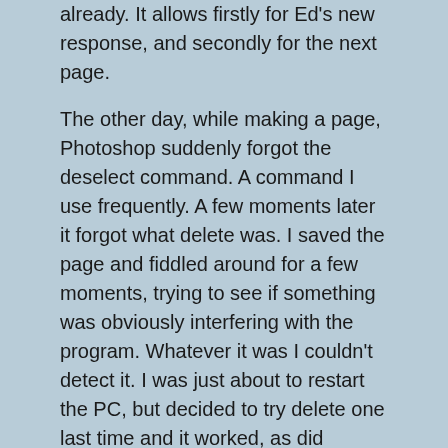already. It allows firstly for Ed's new response, and secondly for the next page.
The other day, while making a page, Photoshop suddenly forgot the deselect command. A command I use frequently. A few moments later it forgot what delete was. I saved the page and fiddled around for a few moments, trying to see if something was obviously interfering with the program. Whatever it was I couldn't detect it. I was just about to restart the PC, but decided to try delete one last time and it worked, as did deselect. I ran a virus scan just to be sure and everything was normal. Nothing was detected. Maybe it was just a random conflict, maybe it was something else, but it was completely new to me, which makes me nervous. Every so often weird shit just happens with a computer. Sometimes my tablet forgets it has levels of pressure sensitivity and I have to restart. I'm almost certain it has something to do with me starting up too many things at the same time. It's just a guess. All I do know is that I have to reset to get it to work again. All in all even these problems are minor annoyances compared to